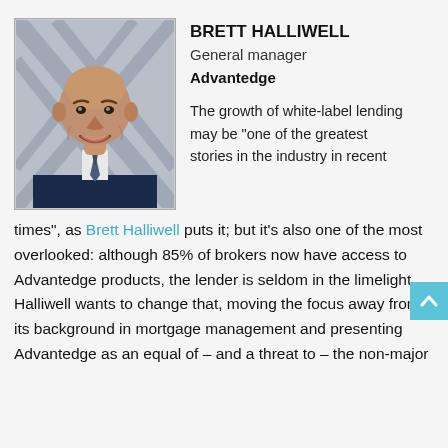[Figure (photo): Professional headshot of Brett Halliwell, a middle-aged bald man in a navy suit with tie, smiling, against a geometric background]
BRETT HALLIWELL
General manager
Advantedge
The growth of white-label lending may be “one of the greatest stories in the industry in recent times”, as Brett Halliwell puts it; but it’s also one of the most overlooked: although 85% of brokers now have access to Advantedge products, the lender is seldom in the limelight. Halliwell wants to change that, moving the focus away from its background in mortgage management and presenting Advantedge as an equal of – and a threat to – the non-major